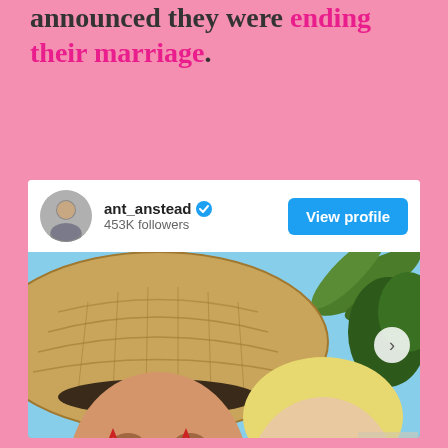announced they were ending their marriage.
[Figure (screenshot): Instagram profile card for ant_anstead with 453K followers, showing a 'View profile' button, and a photo of a man wearing a straw hat and red star-shaped glasses selfie with a young child wearing green star-shaped glasses outdoors.]